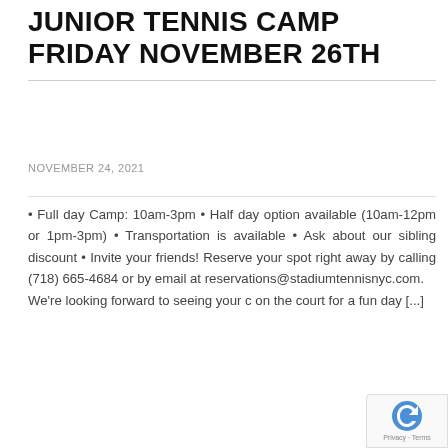JUNIOR TENNIS CAMP FRIDAY NOVEMBER 26TH
NOVEMBER 24, 2021
• Full day Camp: 10am-3pm • Half day option available (10am-12pm or 1pm-3pm) • Transportation is available • Ask about our sibling discount • Invite your friends! Reserve your spot right away by calling (718) 665-4684 or by email at reservations@stadiumtennisnyc.com. We're looking forward to seeing your child on the court for a fun day [...]